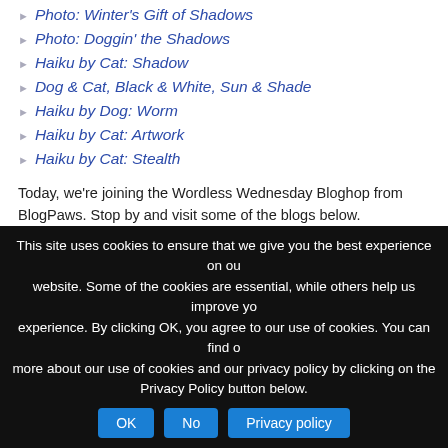Photo: Winter's Gift of Shadows
Photo: Doggin' the Shadows
Haiku by Cat: Shadow
Dog & Cat, Black & White, Sun & Shade
Haiku by Dog: Worm
Haiku by Cat: Artwork
Haiku by Cat: Stealth
Today, we're joining the Wordless Wednesday Bloghop from BlogPaws. Stop by and visit some of the blogs below.
[Figure (logo): BlogPaws Wordless Wednesday Bloghop badge with paw print logo and decorative border]
This site uses cookies to ensure that we give you the best experience on our website. Some of the cookies are essential, while others help us improve your experience. By clicking OK, you agree to our use of cookies. You can find out more about our use of cookies and our privacy policy by clicking on the Privacy Policy button below.